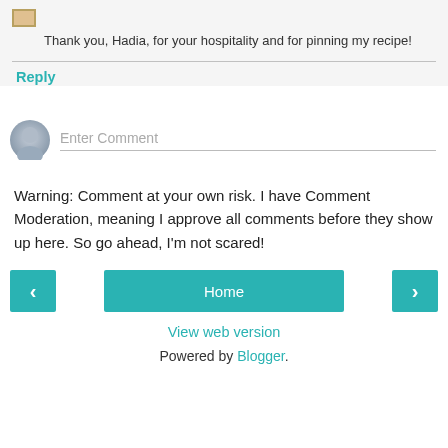[Figure (illustration): Small colored square avatar placeholder icon]
Thank you, Hadia, for your hospitality and for pinning my recipe!
Reply
[Figure (illustration): Gray circular user avatar icon with head and shoulders silhouette]
Enter Comment
Warning: Comment at your own risk. I have Comment Moderation, meaning I approve all comments before they show up here. So go ahead, I'm not scared!
< (previous navigation button)
Home
> (next navigation button)
View web version
Powered by Blogger.